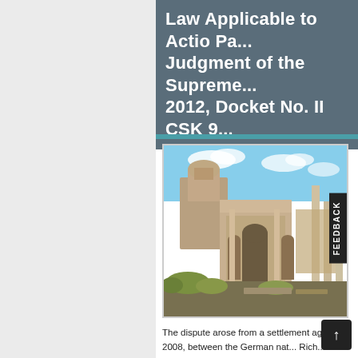Law Applicable to Actio Pa... Judgment of the Supreme... 2012, Docket No. II CSK 9...
[Figure (photo): Aerial view of the Roman Forum showing ancient Roman ruins including a triumphal arch, columns, and historic buildings under a partly cloudy blue sky]
The dispute arose from a settlement agr... 2008, between the German nat... Rich... both domiciled in Germany. The defen...